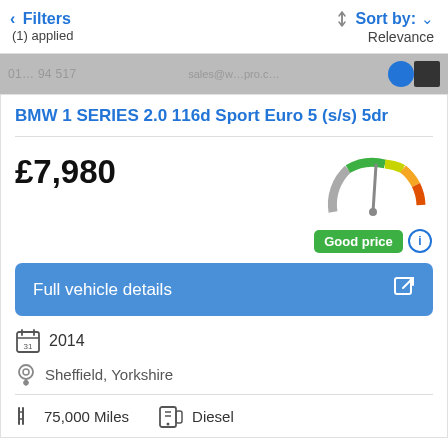< Filters (1) applied | Sort by: Relevance
[Figure (screenshot): Partially visible grey banner with phone number and email partially visible, and a blue circle logo on right]
BMW 1 SERIES 2.0 116d Sport Euro 5 (s/s) 5dr
£7,980
[Figure (infographic): Speedometer/gauge showing price rating. Arc colored grey, green, yellow/amber, orange. Needle pointing toward green-yellow boundary. Below: green badge 'Good price' with info icon.]
Full vehicle details
2014
Sheffield, Yorkshire
75,000 Miles
Diesel